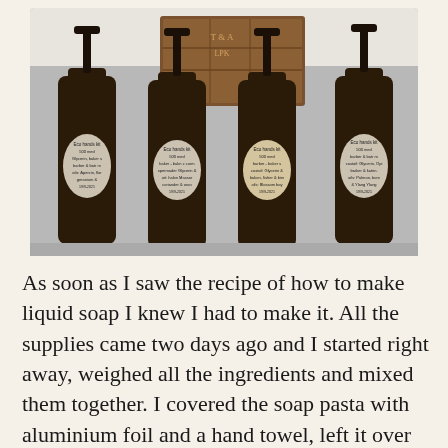[Figure (photo): Four dark amber glass pump bottles with handwritten labels arranged on a grey surface in front of a rustic wooden crate. The bottles appear to contain homemade liquid soap and have handwritten ingredient labels.]
As soon as I saw the recipe of how to make liquid soap I knew I had to make it. All the supplies came two days ago and I started right away, weighed all the ingredients and mixed them together. I covered the soap pasta with aluminium foil and a hand towel, left it over night. The morning after I took my dough hooks and chopped through the soap